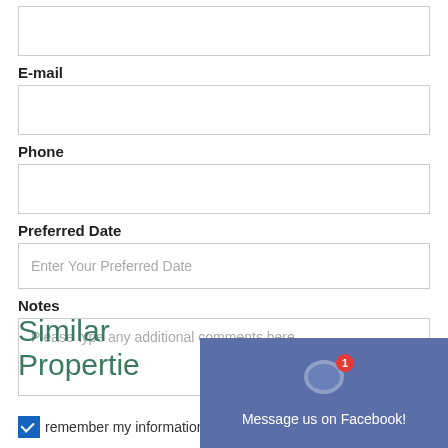E-mail
Phone
Preferred Date
Enter Your Preferred Date
Notes
Please type any additional comments here...
remember my information (?)
SUBMIT
Similar Propertie
Message us on Facebook!